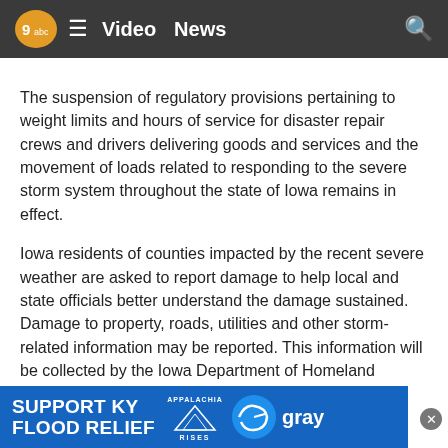Video   News
The suspension of regulatory provisions pertaining to weight limits and hours of service for disaster repair crews and drivers delivering goods and services and the movement of loads related to responding to the severe storm system throughout the state of Iowa remains in effect.
Iowa residents of counties impacted by the recent severe weather are asked to report damage to help local and state officials better understand the damage sustained. Damage to property, roads, utilities and other storm-related information may be reported. This information will be collected by the Iowa Department of Homeland Security and Emergency Management and shared with local emerge...
[Figure (other): Advertisement banner: SUPPORT KY FLOOD RELIEF with Appalachia Rises and Gray TV logos]